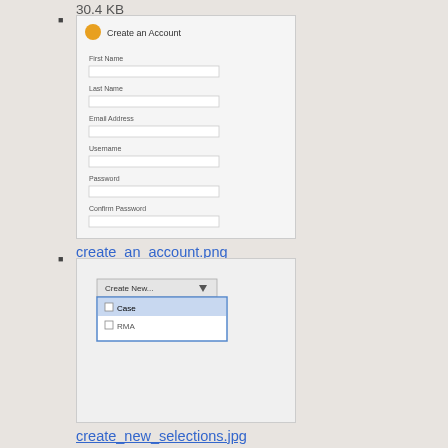30.4 KB
[Figure (screenshot): Thumbnail of create_an_account.png showing a form with fields: First Name, Last Name, Email Address, Username, Password, Confirm Password]
create_an_account.png
369×376
2013/11/07 17:36
5.1 KB
[Figure (screenshot): Thumbnail of create_new_selections.jpg showing a dropdown menu with 'Create New...' button and options: Case, RMA]
create_new_selections.jpg
210×163
2012/11/01 17:37
7.7 KB
[Figure (screenshot): Thumbnail of create_password.png showing a form page]
create_password.png
783×292
2013/11/07 18:46